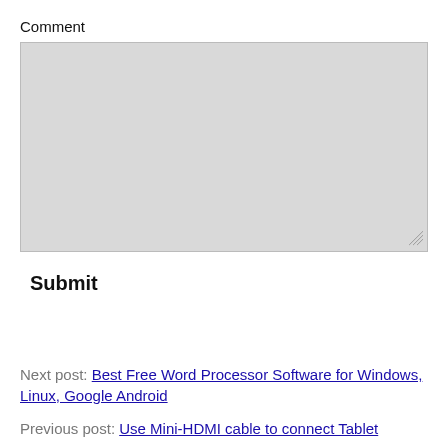Comment
[Figure (other): Textarea input box with light gray background and resize handle in bottom-right corner]
Submit
Next post: Best Free Word Processor Software for Windows, Linux, Google Android
Previous post: Use Mini-HDMI cable to connect Tablet